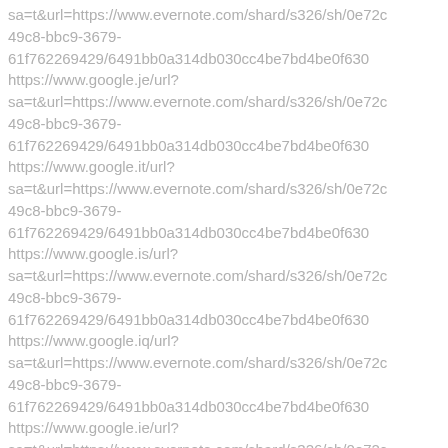sa=t&url=https://www.evernote.com/shard/s326/sh/0e72c49c8-bbc9-3679-61f762269429/6491bb0a314db030cc4be7bd4be0f630 https://www.google.je/url? sa=t&url=https://www.evernote.com/shard/s326/sh/0e72c49c8-bbc9-3679-61f762269429/6491bb0a314db030cc4be7bd4be0f630 https://www.google.it/url? sa=t&url=https://www.evernote.com/shard/s326/sh/0e72c49c8-bbc9-3679-61f762269429/6491bb0a314db030cc4be7bd4be0f630 https://www.google.is/url? sa=t&url=https://www.evernote.com/shard/s326/sh/0e72c49c8-bbc9-3679-61f762269429/6491bb0a314db030cc4be7bd4be0f630 https://www.google.iq/url? sa=t&url=https://www.evernote.com/shard/s326/sh/0e72c49c8-bbc9-3679-61f762269429/6491bb0a314db030cc4be7bd4be0f630 https://www.google.ie/url? sa=t&url=https://www.evernote.com/shard/s326/sh/0e72c49c8-bbc9-3679-61f762269429/6491bb0a314db030cc4be7bd4be0f630